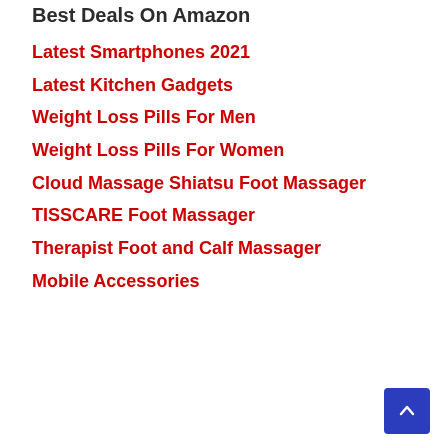Best Deals On Amazon
Latest Smartphones 2021
Latest Kitchen Gadgets
Weight Loss Pills For Men
Weight Loss Pills For Women
Cloud Massage Shiatsu Foot Massager
TISSCARE Foot Massager
Therapist Foot and Calf Massager
Mobile Accessories